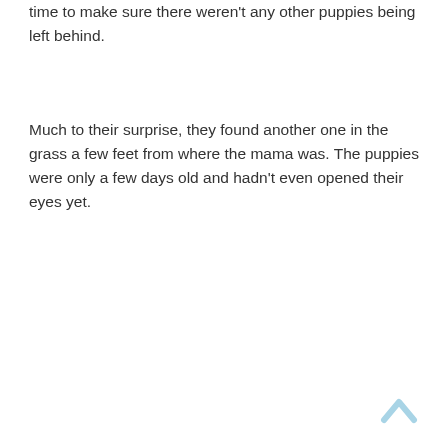time to make sure there weren't any other puppies being left behind.
Much to their surprise, they found another one in the grass a few feet from where the mama was. The puppies were only a few days old and hadn't even opened their eyes yet.
[Figure (other): A light blue upward-pointing chevron/caret icon used as a back-to-top navigation button]